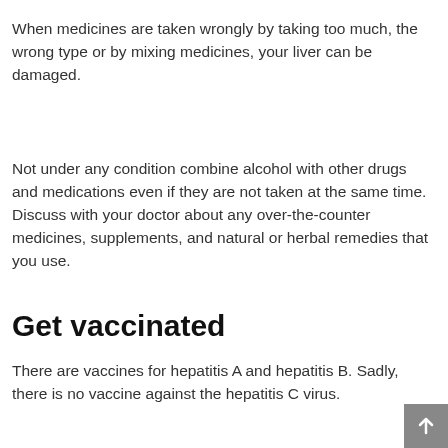When medicines are taken wrongly by taking too much, the wrong type or by mixing medicines, your liver can be damaged.
Not under any condition combine alcohol with other drugs and medications even if they are not taken at the same time. Discuss with your doctor about any over-the-counter medicines, supplements, and natural or herbal remedies that you use.
Get vaccinated
There are vaccines for hepatitis A and hepatitis B. Sadly, there is no vaccine against the hepatitis C virus.